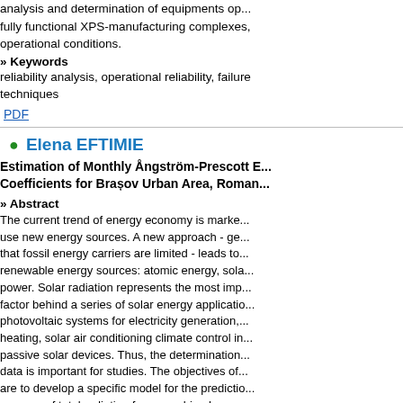analysis and determination of equipments op... fully functional XPS-manufacturing complexes, operational conditions.
» Keywords
reliability analysis, operational reliability, failure techniques
PDF
Elena EFTIMIE
Estimation of Monthly Ångström-Prescott E... Coefficients for Brașov Urban Area, Roman...
» Abstract
The current trend of energy economy is marke... use new energy sources. A new approach - ge... that fossil energy carriers are limited - leads to... renewable energy sources: atomic energy, sola... power. Solar radiation represents the most imp... factor behind a series of solar energy applicatio... photovoltaic systems for electricity generation,... heating, solar air conditioning climate control in... passive solar devices. Thus, the determination... data is important for studies. The objectives of... are to develop a specific model for the predictio... average of total radiation from sunshine hours,... linear model suggested by Ångström-Prescott,... model for diffuse radiation and to validate this m... three important statistical indicators: Mean Bias... Mean Square Error (RMSE) and t-statistic.
» Keywords
Ångström-Prescott equation, total and diffuse...